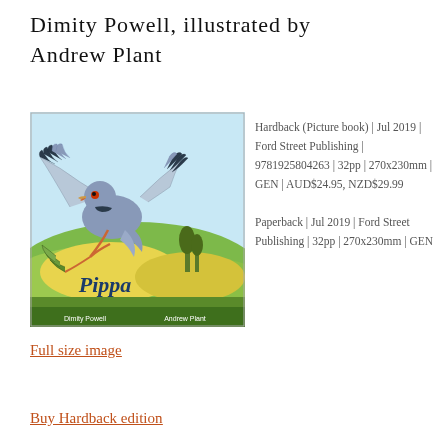Dimity Powell, illustrated by Andrew Plant
[Figure (illustration): Book cover of 'Pippa' showing a pigeon/dove with wings spread over a green hillside landscape, illustrated by Andrew Plant. Authors Dimity Powell and Andrew Plant credited at bottom.]
Hardback (Picture book) | Jul 2019 | Ford Street Publishing | 9781925804263 | 32pp | 270x230mm | GEN | AUD$24.95, NZD$29.99 Paperback | Jul 2019 | Ford Street Publishing | 32pp | 270x230mm | GEN
Full size image
Buy Hardback edition